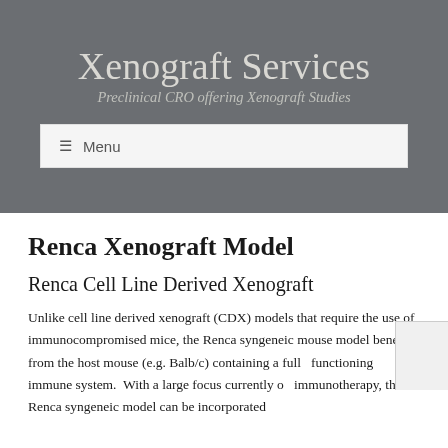Xenograft Services
Preclinical CRO offering Xenograft Studies
≡ Menu
Renca Xenograft Model
Renca Cell Line Derived Xenograft
Unlike cell line derived xenograft (CDX) models that require the use of immunocompromised mice, the Renca syngeneic mouse model benefits from the host mouse (e.g. Balb/c) containing a fully functioning immune system.  With a large focus currently on immunotherapy, the Renca syngeneic model can be incorporated